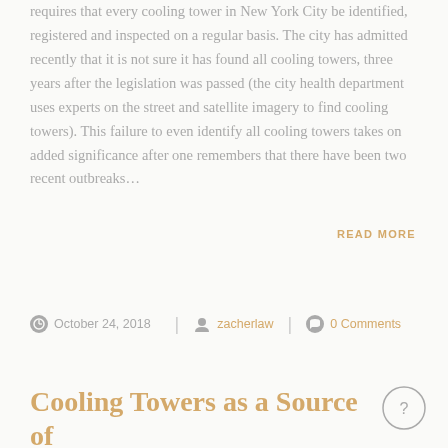requires that every cooling tower in New York City be identified, registered and inspected on a regular basis. The city has admitted recently that it is not sure it has found all cooling towers, three years after the legislation was passed (the city health department uses experts on the street and satellite imagery to find cooling towers). This failure to even identify all cooling towers takes on added significance after one remembers that there have been two recent outbreaks…
READ MORE
October 24, 2018 | zacherlaw | 0 Comments
Cooling Towers as a Source of Legionnaires' Disease